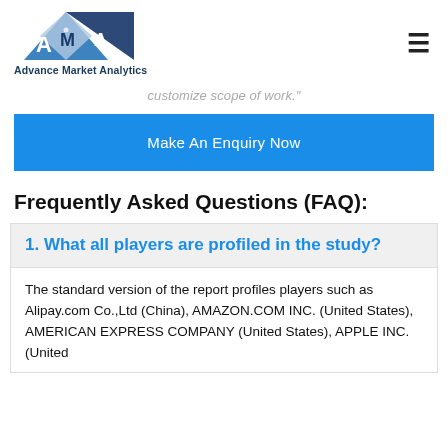[Figure (logo): Advance Market Analytics logo with blue/grey triangular AMA emblem and company name below]
customize scope of work."
Make An Enquiry Now
Frequently Asked Questions (FAQ):
1. What all players are profiled in the study?
The standard version of the report profiles players such as Alipay.com Co.,Ltd (China), AMAZON.COM INC. (United States), AMERICAN EXPRESS COMPANY (United States), APPLE INC. (United